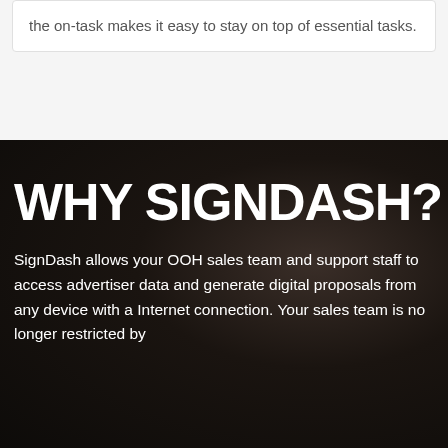the on-task makes it easy to stay on top of essential tasks.
WHY SIGNDASH?
SignDash allows your OOH sales team and support staff to access advertiser data and generate digital proposals from any device with a Internet connection. Your sales team is no longer restricted by